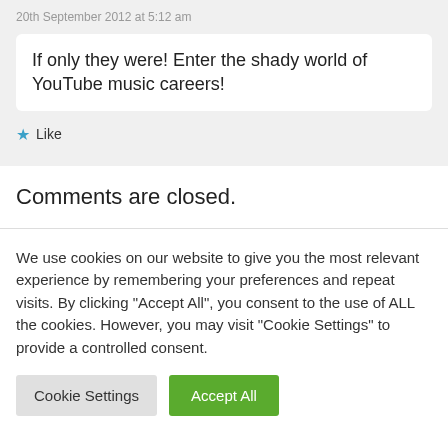20th September 2012 at 5:12 am
If only they were! Enter the shady world of YouTube music careers!
★ Like
Comments are closed.
We use cookies on our website to give you the most relevant experience by remembering your preferences and repeat visits. By clicking "Accept All", you consent to the use of ALL the cookies. However, you may visit "Cookie Settings" to provide a controlled consent.
Cookie Settings
Accept All